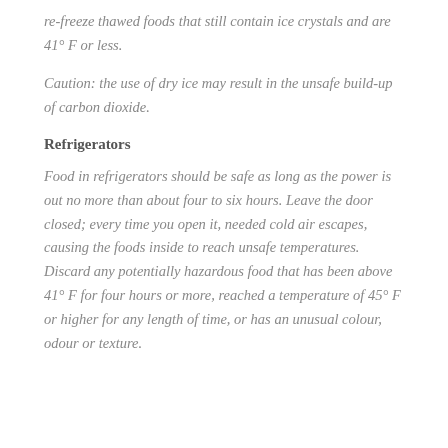re-freeze thawed foods that still contain ice crystals and are 41° F or less.
Caution: the use of dry ice may result in the unsafe build-up of carbon dioxide.
Refrigerators
Food in refrigerators should be safe as long as the power is out no more than about four to six hours. Leave the door closed; every time you open it, needed cold air escapes, causing the foods inside to reach unsafe temperatures. Discard any potentially hazardous food that has been above 41° F for four hours or more, reached a temperature of 45° F or higher for any length of time, or has an unusual colour, odour or texture.